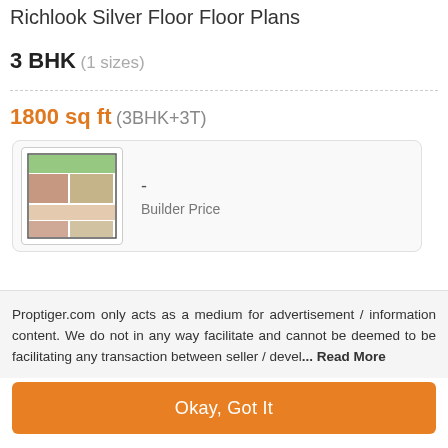Richlook Silver Floor Floor Plans
3 BHK (1 sizes)
1800 sq ft (3BHK+3T)
[Figure (schematic): Floor plan image of a 3BHK+3T apartment unit showing room layout]
- Builder Price
Proptiger.com only acts as a medium for advertisement / information content. We do not in any way facilitate and cannot be deemed to be facilitating any transaction between seller / devel... Read More
Okay, Got It